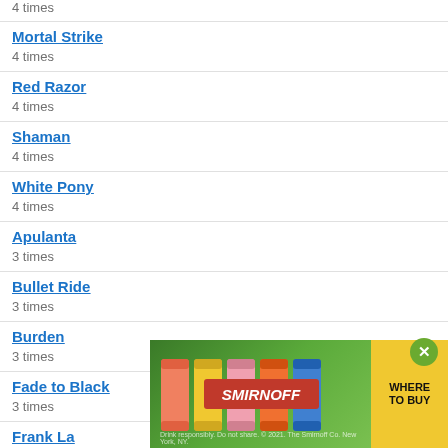4 times
Mortal Strike
4 times
Red Razor
4 times
Shaman
4 times
White Pony
4 times
Apulanta
3 times
Bullet Ride
3 times
Burden
3 times
Fade to Black
3 times
Frank La...
3 times
[Figure (infographic): Smirnoff advertisement banner showing colorful cans with text 'SMIRNOFF' and 'WHERE TO BUY' button, with a green close (X) circle button]